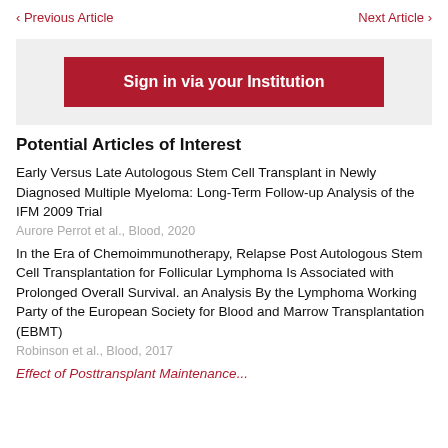< Previous Article    Next Article >
[Figure (other): Sign in via your Institution button in a grey box]
Potential Articles of Interest
Early Versus Late Autologous Stem Cell Transplant in Newly Diagnosed Multiple Myeloma: Long-Term Follow-up Analysis of the IFM 2009 Trial
Aurore Perrot et al., Blood, 2020
In the Era of Chemoimmunotherapy, Relapse Post Autologous Stem Cell Transplantation for Follicular Lymphoma Is Associated with Prolonged Overall Survival. an Analysis By the Lymphoma Working Party of the European Society for Blood and Marrow Transplantation (EBMT)
Robinson et al., Blood, 2017
Effect of Posttransplant Maintenance...